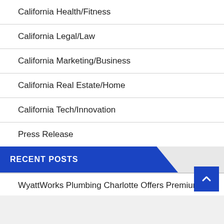California Health/Fitness
California Legal/Law
California Marketing/Business
California Real Estate/Home
California Tech/Innovation
Press Release
RECENT POSTS
WyattWorks Plumbing Charlotte Offers Premium